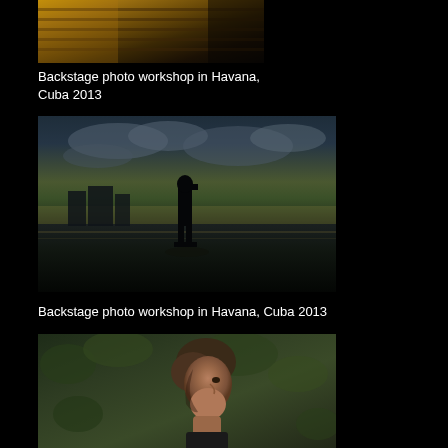[Figure (photo): Backstage photo workshop in Havana, Cuba 2013 — close-up of stacked old books or wooden steps with warm golden-brown tones]
Backstage photo workshop in Havana, Cuba 2013
[Figure (photo): Backstage photo workshop in Havana, Cuba 2013 — dramatic silhouette of a person standing on a waterfront with moody cloudy sky, city skyline in background, reflected water on ground]
Backstage photo workshop in Havana, Cuba 2013
[Figure (photo): Portrait of a man with brown hair against a green leafy background, side profile, warm natural light]